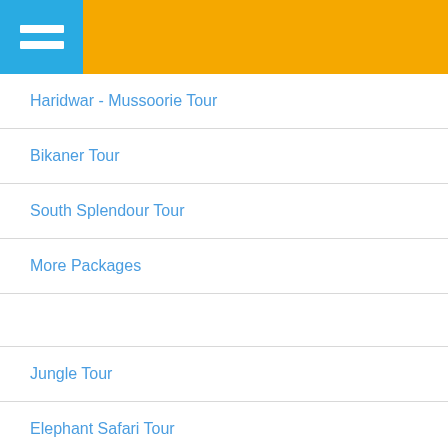[Figure (other): App navigation header with hamburger menu icon on blue background and orange banner]
Haridwar - Mussoorie Tour
Bikaner Tour
South Splendour Tour
More Packages
Jungle Tour
Elephant Safari Tour
Ranthambore Tour
Leh Ladakh Tour